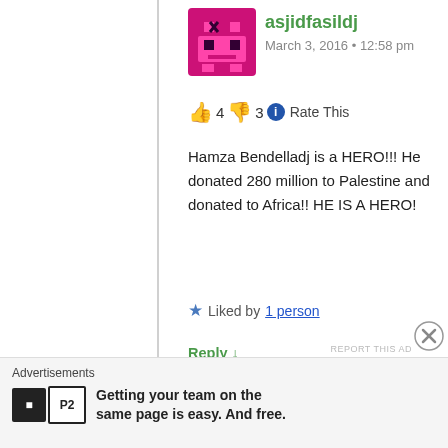asjidfasildj
March 3, 2016 • 12:58 pm
👍 4 👎 3 ℹ Rate This
Hamza Bendelladj is a HERO!!! He donated 280 million to Palestine and donated to Africa!! HE IS A HERO!
★ Liked by 1 person
Reply ↓
raincoaster
March 5, 2016 • 9:30 pm
👍 5 👎 2 ℹ Rate This
Actually I can find no evidence that he did any such thing.
Advertisements
Getting your team on the same page is easy. And free.